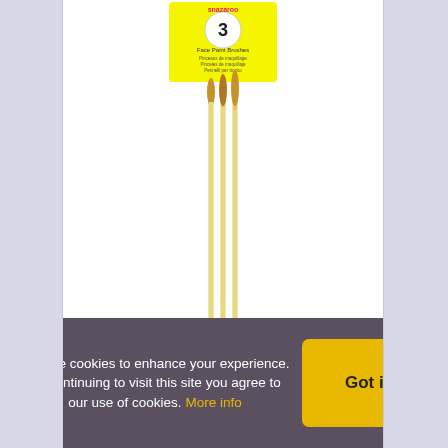[Figure (photo): Snazaroo Face Paint Brushes product package showing 3 brushes with yellow handles and two children with face paint on the packaging label]
Snazaroo Fun Brush Set
€3.95 per set of 3
Qty: 1
We use cookies to enhance your experience. By continuing to visit this site you agree to our use of cookies. More info